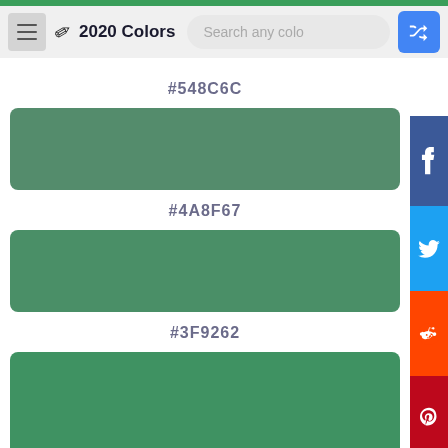2020 Colors
#548C6C
[Figure (other): Color swatch showing hex color #548C6C, a medium green]
#4A8F67
[Figure (other): Color swatch showing hex color #4A8F67, a medium green]
#3F9262
[Figure (other): Color swatch showing hex color #3F9262, a medium-bright green]